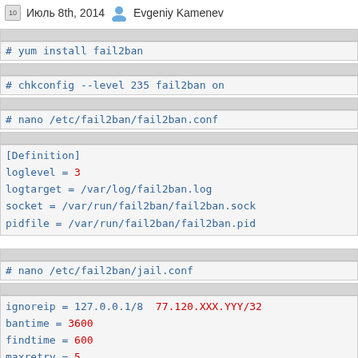Июль 8th, 2014  Evgeniy Kamenev
# yum install fail2ban
# chkconfig --level 235 fail2ban on
# nano /etc/fail2ban/fail2ban.conf
[Definition]
loglevel = 3
logtarget = /var/log/fail2ban.log
socket = /var/run/fail2ban/fail2ban.sock
pidfile = /var/run/fail2ban/fail2ban.pid
# nano /etc/fail2ban/jail.conf
ignoreip = 127.0.0.1/8  77.120.XXX.YYY/32
bantime = 3600
findtime = 600
maxretry = 5